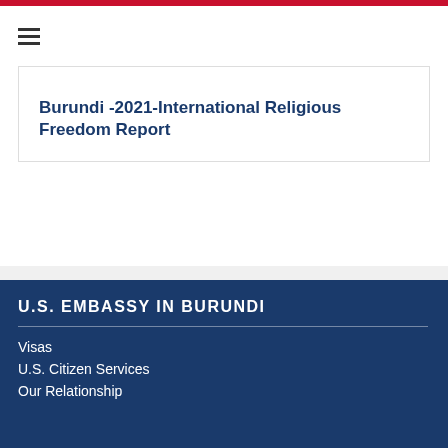Burundi -2021-International Religious Freedom Report
U.S. EMBASSY IN BURUNDI
Visas
U.S. Citizen Services
Our Relationship